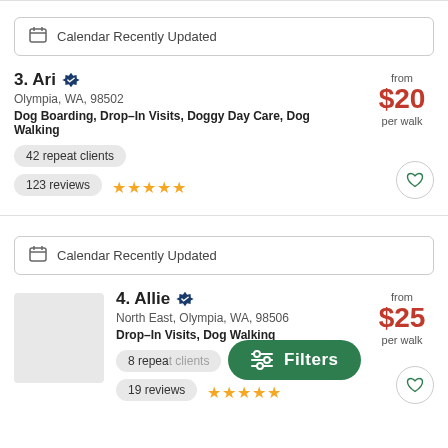Calendar Recently Updated
3. Ari · Olympia, WA, 98502 · Dog Boarding, Drop-In Visits, Doggy Day Care, Dog Walking · from $20 per walk · 42 repeat clients · 123 reviews
Calendar Recently Updated
4. Allie · North East, Olympia, WA, 98506 · Drop-In Visits, Dog Walking · from $25 per walk · 8 repeat clients · 19 reviews
[Figure (other): Filters pill button overlay]